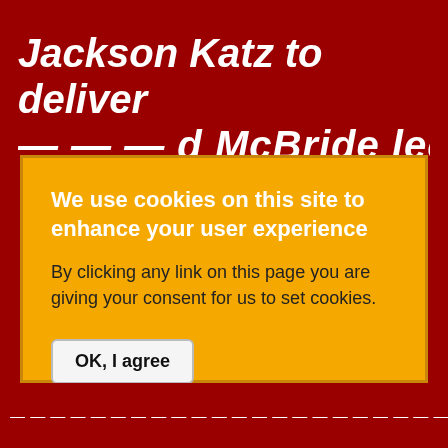Jackson Katz to deliver ...McBride lect...
We use cookies on this site to enhance your user experience
By clicking any link on this page you are giving your consent for us to set cookies.
OK, I agree
MORE INFO »
...